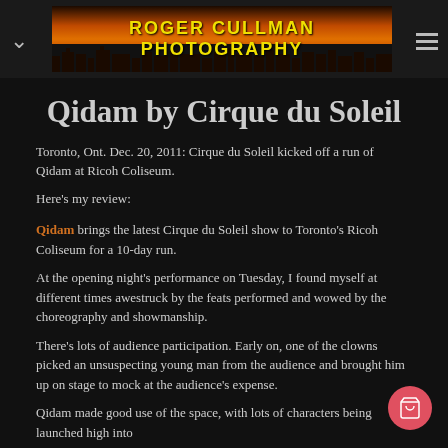ROGER CULLMAN PHOTOGRAPHY
Qidam by Cirque du Soleil
Toronto, Ont. Dec. 20, 2011: Cirque du Soleil kicked off a run of Qidam at Ricoh Coliseum.
Here's my review:
Qidam brings the latest Cirque du Soleil show to Toronto's Ricoh Coliseum for a 10-day run.
At the opening night's performance on Tuesday, I found myself at different times awestruck by the feats performed and wowed by the choreography and showmanship.
There's lots of audience participation. Early on, one of the clowns picked an unsuspecting young man from the audience and brought him up on stage to mock at the audience's expense.
Qidam made good use of the space, with lots of characters being launched high into